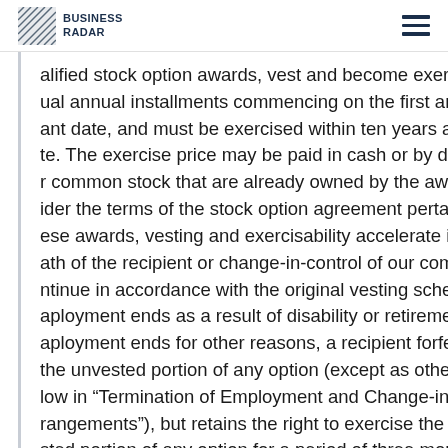BUSINESS RADAR
alified stock option awards, vest and become exercisable in five ual annual installments commencing on the first anniversary of t ant date, and must be exercised within ten years after the grant te. The exercise price may be paid in cash or by delivering shares r common stock that are already owned by the award recipient. ider the terms of the stock option agreement pertaining to each ese awards, vesting and exercisability accelerate in full upon the ath of the recipient or change-in-control of our company, and ntinue in accordance with the original vesting schedule if aployment ends as a result of disability or retirement. If aployment ends for other reasons, a recipient forfeits any interest the unvested portion of any option (except as otherwise describe low in "Termination of Employment and Change-in-Control rangements"), but retains the right to exercise the previously sted portion of any option for a period of three months. In dition, if an award recipient's employment is terminated for cause if the recipient breaches a non-competition or confidentiality